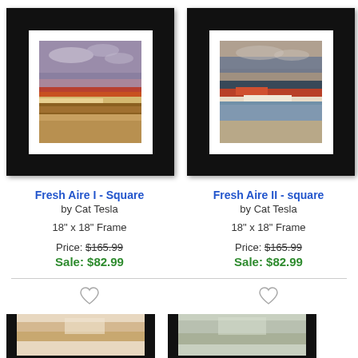[Figure (photo): Framed abstract landscape painting 'Fresh Aire I - Square' by Cat Tesla, showing earthy tones with reddish-brown terrain and grey sky, in a black frame with white mat]
[Figure (photo): Framed abstract landscape painting 'Fresh Aire II - square' by Cat Tesla, showing similar landscape with blue tones and reddish-brown terrain, in a black frame with white mat]
Fresh Aire I - Square
by Cat Tesla
18" x 18" Frame
Price: $165.99
Sale: $82.99
Fresh Aire II - square
by Cat Tesla
18" x 18" Frame
Price: $165.99
Sale: $82.99
[Figure (photo): Partial view of a third framed artwork - bottom of page, left column]
[Figure (photo): Partial view of a fourth framed artwork - bottom of page, right column]